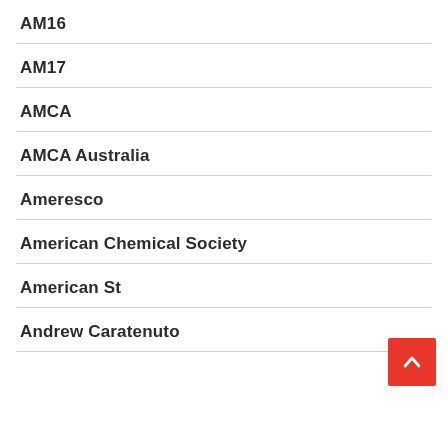AM16
AM17
AMCA
AMCA Australia
Ameresco
American Chemical Society
American St
Andrew Caratenuto